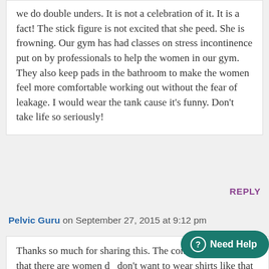we do double unders. It is not a celebration of it. It is a fact! The stick figure is not excited that she peed. She is frowning. Our gym has had classes on stress incontinence put on by professionals to help the women in our gym. They also keep pads in the bathroom to make the women feel more comfortable working out without the fear of leakage. I would wear the tank cause it's funny. Don't take life so seriously!
REPLY
Pelvic Guru on September 27, 2015 at 9:12 pm
Thanks so much for sharing this. The concern we see is that there are women d… don't want to wear shirts like that and are very distressed by this. There are also attorneys i…